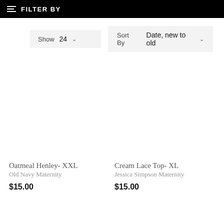FILTER BY
Show 24 ▾   Sort By   Date, new to old ▾
Oatmeal Henley- XXL
Old Navy Maternity
$15.00
Cream Lace Top- XL
Jessica Simpson Maternity
$15.00